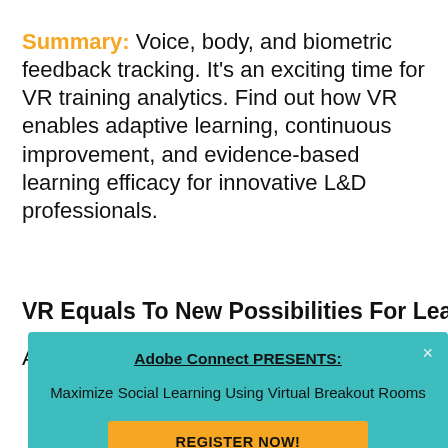Summary: Voice, body, and biometric feedback tracking. It's an exciting time for VR training analytics. Find out how VR enables adaptive learning, continuous improvement, and evidence-based learning efficacy for innovative L&D professionals.
VR Equals To New Possibilities For Learning
A...
[Figure (other): Adobe Connect popup advertisement: 'Adobe Connect PRESENTS: Maximize Social Learning Using Virtual Breakout Rooms' with a 'REGISTER NOW!' button on a teal background.]